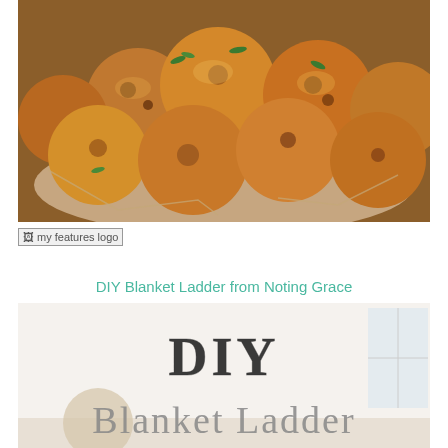[Figure (photo): Close-up photo of fried hush puppies or fritter balls in a basket lined with parchment paper, garnished with fresh herbs]
[Figure (logo): my features logo - small image placeholder with broken image icon and alt text 'my features logo']
DIY Blanket Ladder from Noting Grace
[Figure (photo): DIY Blanket Ladder promotional image with large bold text 'DIY' in chalk-style lettering and 'Blanket Ladder' in large light gray serif font on a white background]